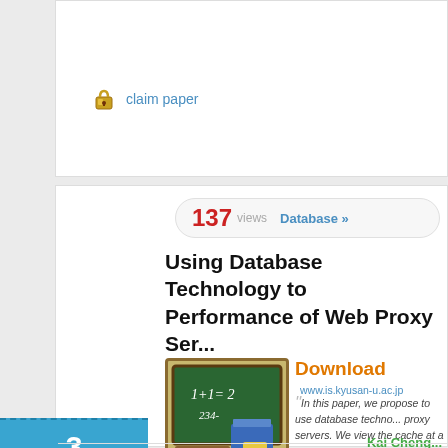claim paper
137 views   Database »
Using Database Technology to Performance of Web Proxy Ser...
Download  www.is.kyusan-u.ac.jp
In this paper, we propose to use database techno... proxy servers. We view the cache at a proxy ser... organized in a h...
Kai Cheng...
3
click to vote
WEBDB
2001
Springer